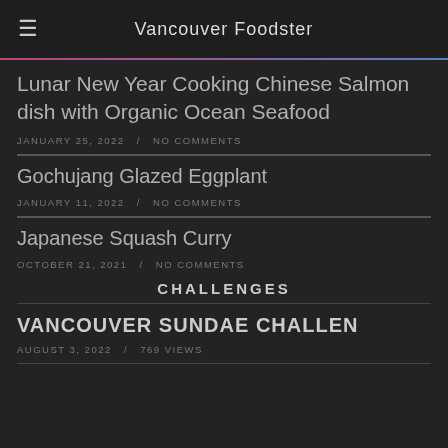Vancouver Foodster
Lunar New Year Cooking Chinese Salmon dish with Organic Ocean Seafood
JANUARY 25, 2022 / NO COMMENTS
Gochujang Glazed Eggplant
JANUARY 11, 2022 / NO COMMENTS
Japanese Squash Curry
OCTOBER 21, 2021 / NO COMMENTS
CHALLENGES
VANCOUVER SUNDAE CHALLEN
AUGUST 3, 2022 / 769 VIEWS